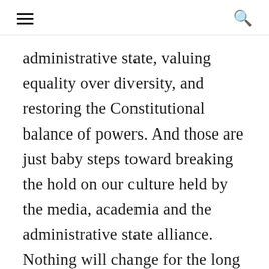≡  🔍
administrative state, valuing equality over diversity, and restoring the Constitutional balance of powers. And those are just baby steps toward breaking the hold on our culture held by the media, academia and the administrative state alliance. Nothing will change for the long term until that alliance is broken up,.
IMHO, it's time for conservatives